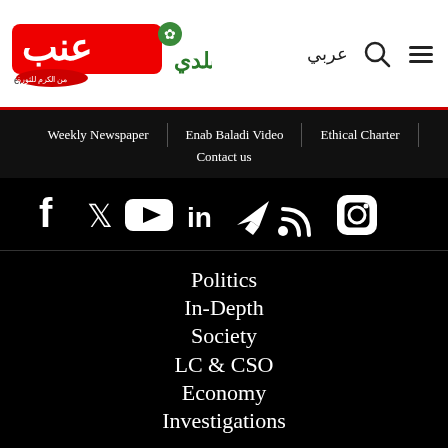[Figure (logo): Enab Baladi logo with Arabic text and clover icon, plus Arabic slogan text on right side]
Weekly Newspaper | Enab Baladi Video | Ethical Charter | Contact us
[Figure (infographic): Social media icons: Facebook, Twitter, YouTube, LinkedIn, Telegram, RSS, Instagram — white icons on black background]
Politics
In-Depth
Society
LC & CSO
Economy
Investigations
(EB) is an independent Syrian media organization that was founded in 2011. EB offers 24 [...]es, and it
Copyright © 2022 Enab Baladi. Enab Baladi is a nonprofit charitable 501(c)(3)
[Figure (screenshot): Advertisement overlay showing a winter road scene with text 'Hold and Move' and close buttons]